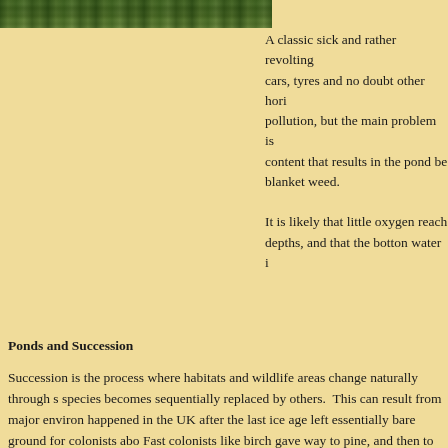[Figure (photo): A strip of foliage/trees photograph at the top left of the page]
A classic sick and rather revolting cars, tyres and no doubt other hori pollution, but the main problem is content that results in the pond be blanket weed.
It is likely that little oxygen reach depths, and that the botton water i
Ponds and Succession
Succession is the process where habitats and wildlife areas change naturally through s species becomes sequentially replaced by others.  This can result from major environ happened in the UK after the last ice age left essentially bare ground for colonists abo Fast colonists like birch gave way to pine, and then to broadleafed forests of oak and